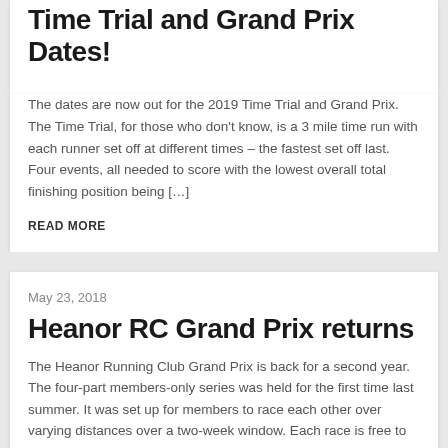Time Trial and Grand Prix Dates!
The dates are now out for the 2019 Time Trial and Grand Prix. The Time Trial, for those who don't know, is a 3 mile time run with each runner set off at different times – the fastest set off last. Four events, all needed to score with the lowest overall total finishing position being […]
READ MORE
May 23, 2018
Heanor RC Grand Prix returns
The Heanor Running Club Grand Prix is back for a second year. The four-part members-only series was held for the first time last summer. It was set up for members to race each other over varying distances over a two-week window. Each race is free to enter and members can run in any number of them. […]